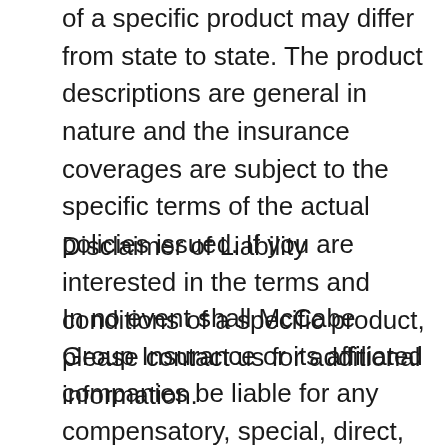of a specific product may differ from state to state. The product descriptions are general in nature and the insurance coverages are subject to the specific terms of the actual policies issued. If you are interested in the terms and conditions of a specific product, please contact us for additional information.
Disclaimer of Liability
In no event shall McCabe Group Insurance or its affiliated companies be liable for any compensatory, special, direct, incidental, indirect, or consequential damages, exemplary damages or any damages whatsoever resulting from loss of use, data, information or profits arising out of or in connection with the use or performance of the data